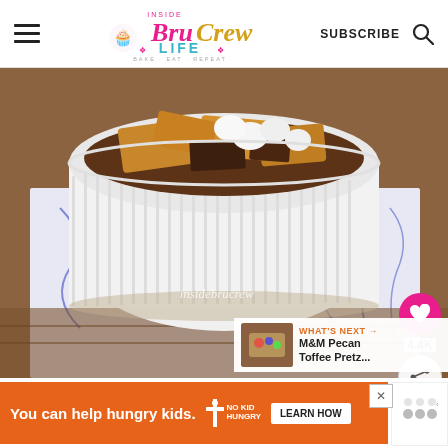[Figure (logo): Inside BruCrew Life logo with pink and gold script text and cupcake icon, tagline bake eat repeat]
[Figure (photo): A white ribbed ramekin filled with s'mores cookie dessert — chocolate, marshmallows, and graham cracker pieces — sitting on a blue and white floral napkin on a wooden board. Social sharing overlay with heart button (4.4K) and share icon on the right. Watermark text insidebrucrew. What's Next panel showing M&M Pecan Toffee Pretz... thumbnail.]
insidebrucrew
WHAT'S NEXT → M&M Pecan Toffee Pretz...
You can help hungry kids.
LEARN HOW